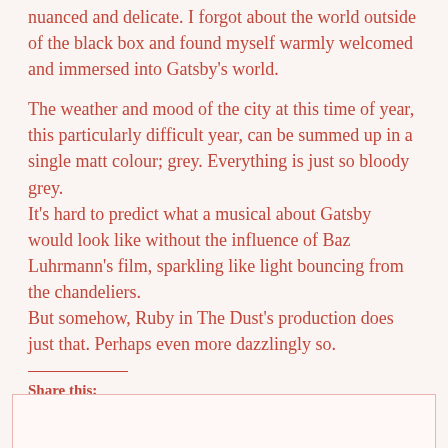nuanced and delicate. I forgot about the world outside of the black box and found myself warmly welcomed and immersed into Gatsby's world.
The weather and mood of the city at this time of year, this particularly difficult year, can be summed up in a single matt colour; grey. Everything is just so bloody grey.
It's hard to predict what a musical about Gatsby would look like without the influence of Baz Luhrmann's film, sparkling like light bouncing from the chandeliers.
But somehow, Ruby in The Dust's production does just that. Perhaps even more dazzlingly so.
Share this:
[Figure (other): Social share buttons: Facebook, Twitter, WhatsApp, Pinterest, Tumblr, Print]